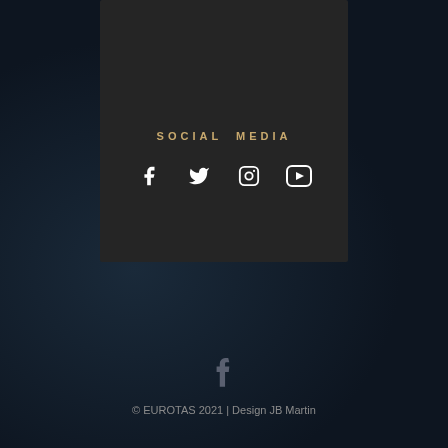SOCIAL MEDIA
[Figure (infographic): Four social media icons: Facebook, Twitter, Instagram, YouTube displayed in white on dark background]
[Figure (infographic): Facebook icon (f) in grey at bottom of page]
© EUROTAS 2021 | Design JB Martin